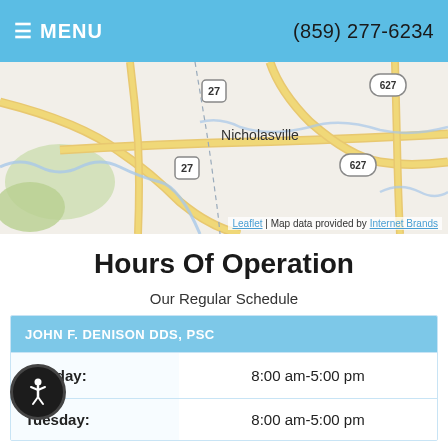MENU  (859) 277-6234
[Figure (map): Street map showing Nicholasville, KY area with road routes 27 and 627 visible. Map credit: Leaflet | Map data provided by Internet Brands.]
Hours Of Operation
Our Regular Schedule
| JOHN F. DENISON DDS, PSC |  |
| --- | --- |
| Monday: | 8:00 am-5:00 pm |
| Tuesday: | 8:00 am-5:00 pm |